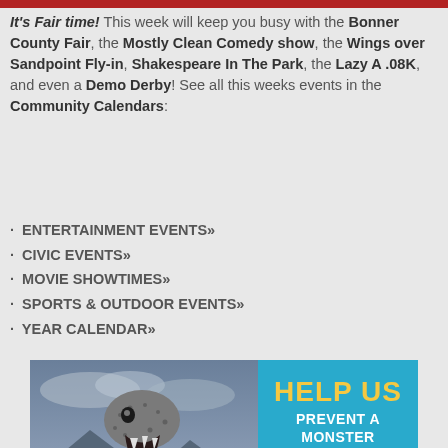It's Fair time! This week will keep you busy with the Bonner County Fair, the Mostly Clean Comedy show, the Wings over Sandpoint Fly-in, Shakespeare In The Park, the Lazy A .08K, and even a Demo Derby! See all this weeks events in the Community Calendars:
ENTERTAINMENT EVENTS»
CIVIC EVENTS»
MOVIE SHOWTIMES»
SPORTS & OUTDOOR EVENTS»
YEAR CALENDAR»
[Figure (illustration): Advertisement showing a sea monster creature emerging from water on the left side with mountains in background, and on the right a blue panel reading 'HELP US PREVENT A MONSTER OF A MINE.' with a badge showing the number 25]